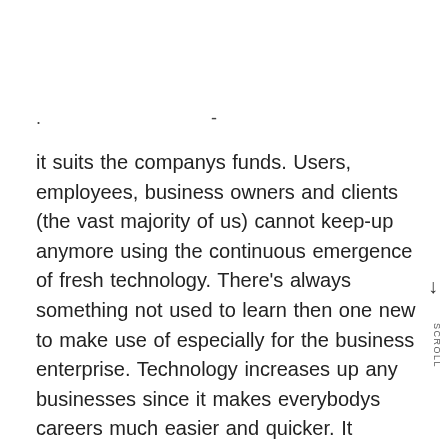. -
it suits the companys funds. Users, employees, business owners and clients (the vast majority of us) cannot keep-up anymore using the continuous emergence of fresh technology. There's always something not used to learn then one new to make use of especially for the business enterprise. Technology increases up any businesses since it makes everybodys careers much easier and quicker. It generates a feeling of competition amongst businesses, a wholesome competition that's. You don't have to worry right now since you can find firms that offer technology support services for just about any specialized concern it's likely you have in your organization. It offers back to